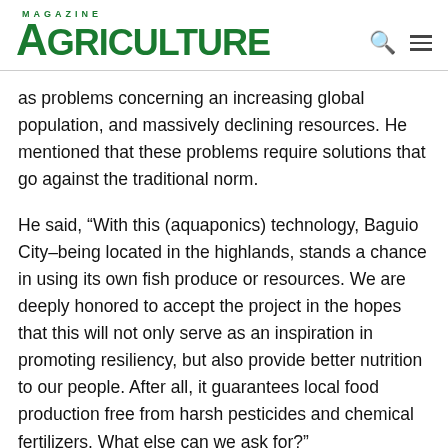AGRICULTURE MAGAZINE
as problems concerning an increasing global population, and massively declining resources. He mentioned that these problems require solutions that go against the traditional norm.
He said, “With this (aquaponics) technology, Baguio City–being located in the highlands, stands a chance in using its own fish produce or resources. We are deeply honored to accept the project in the hopes that this will not only serve as an inspiration in promoting resiliency, but also provide better nutrition to our people. After all, it guarantees local food production free from harsh pesticides and chemical fertilizers. What else can we ask for?”